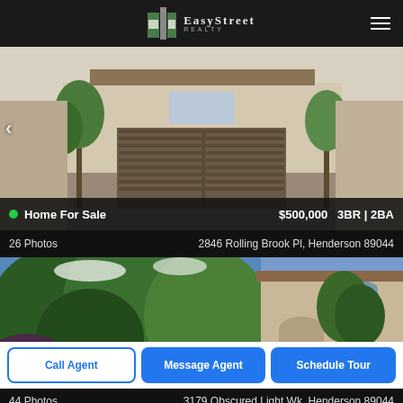[Figure (logo): EasyStreet Realty logo with building icon]
[Figure (photo): Exterior photo of home with two-car garage, brown garage door, stucco facade, stone accents, and landscaping]
Home For Sale   $500,000   3BR | 2BA
26 Photos   2846 Rolling Brook Pl, Henderson 89044
[Figure (photo): Exterior photo of Mediterranean-style home with arched entry, surrounded by lush green trees and blue sky]
Call Agent   Message Agent   Schedule Tour
44 Photos   3179 Obscured Light Wk, Henderson 89044